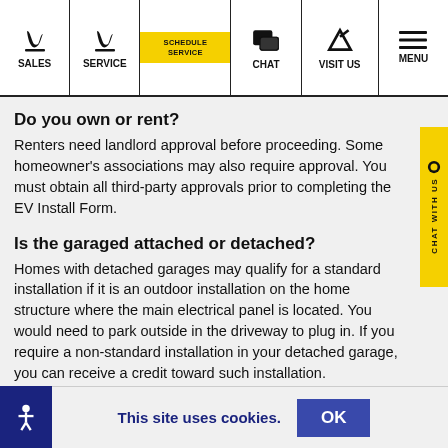SALES | SERVICE | SCHEDULE SERVICE | CHAT | VISIT US | MENU
Do you own or rent?
Renters need landlord approval before proceeding. Some homeowner's associations may also require approval. You must obtain all third-party approvals prior to completing the EV Install Form.
Is the garaged attached or detached?
Homes with detached garages may qualify for a standard installation if it is an outdoor installation on the home structure where the main electrical panel is located. You would need to park outside in the driveway to plug in. If you require a non-standard installation in your detached garage, you can receive a credit toward such installation.
This site uses cookies.